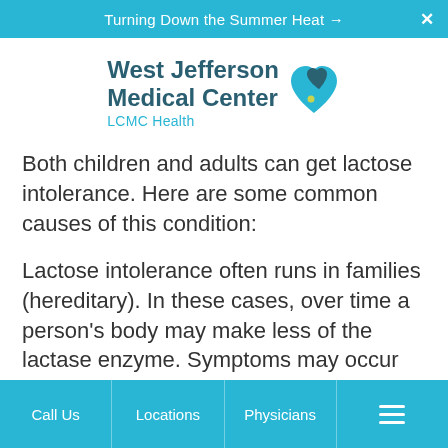Turning Down the Summer Heat →  ✕
[Figure (logo): West Jefferson Medical Center LCMC Health logo with teal heart icon]
Both children and adults can get lactose intolerance. Here are some common causes of this condition:
Lactose intolerance often runs in families (hereditary). In these cases, over time a person's body may make less of the lactase enzyme. Symptoms may occur during the teen
Call Us  |  Locations  |  Physicians  |  ☰